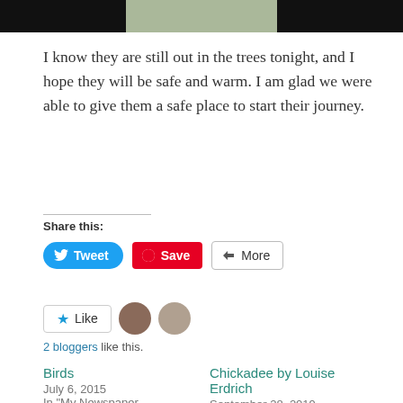[Figure (photo): Photo strip at top of page showing a partial outdoor scene with trees/foliage in center, flanked by dark/black areas on left and right]
I know they are still out in the trees tonight, and I hope they will be safe and warm. I am glad we were able to give them a safe place to start their journey.
Share this:
Tweet  Save  More
Like  2 bloggers like this.
Birds
July 6, 2015
In "My Newspaper Columns"
Chickadee by Louise Erdrich
September 28, 2019
In "Books"